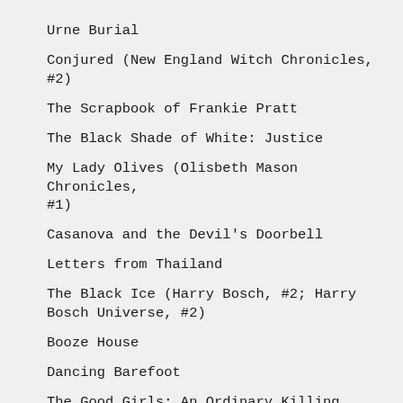Urne Burial
Conjured (New England Witch Chronicles, #2)
The Scrapbook of Frankie Pratt
The Black Shade of White: Justice
My Lady Olives (Olisbeth Mason Chronicles, #1)
Casanova and the Devil's Doorbell
Letters from Thailand
The Black Ice (Harry Bosch, #2; Harry Bosch Universe, #2)
Booze House
Dancing Barefoot
The Good Girls: An Ordinary Killing
The Master Switch: The Rise and Fall of